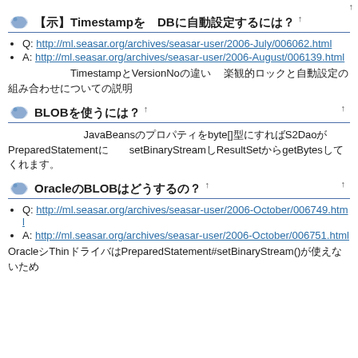TimestampをDBに自動設定するには 1
Q: http://ml.seasar.org/archives/seasar-user/2006-July/006062.html
A: http://ml.seasar.org/archives/seasar-user/2006-August/006139.html
TimestampとVersionNoの違い 楽観的ロックと自動設定の組み合わせについての説明
BLOBを使うには? 1
BLOBを含む JavaBeansのプロパティをbyte[]型にすればS2DaoがPreparedStatementにsetBinaryStreamしResultSetからgetBytesしてくれます。
OracleのBLOBはどうするの? 1
Q: http://ml.seasar.org/archives/seasar-user/2006-October/006749.html
A: http://ml.seasar.org/archives/seasar-user/2006-October/006751.html
OracleThinドライバはPreparedStatement#setBinaryStream()が使えないため